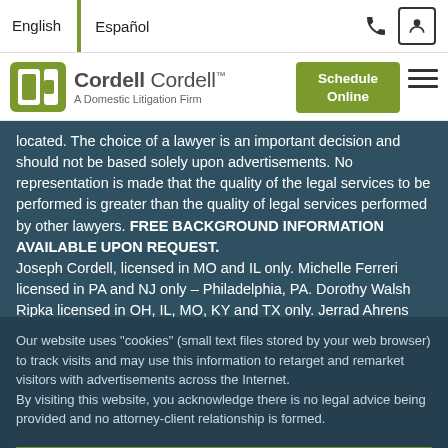English | Español
[Figure (logo): Cordell Cordell - A Domestic Litigation Firm logo with green bracket icon]
located. The choice of a lawyer is an important decision and should not be based solely upon advertisements. No representation is made that the quality of the legal services to be performed is greater than the quality of legal services performed by other lawyers. FREE BACKGROUND INFORMATION AVAILABLE UPON REQUEST.
Joseph Cordell, licensed in MO and IL only. Michelle Ferreri licensed in PA and NJ only – Philadelphia, PA. Dorothy Walsh Ripka licensed in OH, IL, MO, KY and TX only. Jerrad Ahrens
Our website uses "cookies" (small text files stored by your web browser) to track visits and may use this information to retarget and remarket visitors with advertisements across the Internet.
By visiting this website, you acknowledge there is no legal advice being provided and no attorney-client relationship is formed.
Accept